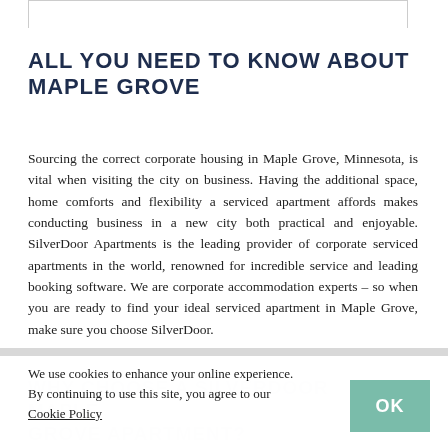ALL YOU NEED TO KNOW ABOUT MAPLE GROVE
Sourcing the correct corporate housing in Maple Grove, Minnesota, is vital when visiting the city on business. Having the additional space, home comforts and flexibility a serviced apartment affords makes conducting business in a new city both practical and enjoyable. SilverDoor Apartments is the leading provider of corporate serviced apartments in the world, renowned for incredible service and leading booking software. We are corporate accommodation experts – so when you are ready to find your ideal serviced apartment in Maple Grove, make sure you choose SilverDoor.
WHY CHOOSE A SILVERDOOR MAPLE GROVE APARTMENT?
We use cookies to enhance your online experience. By continuing to use this site, you agree to our Cookie Policy